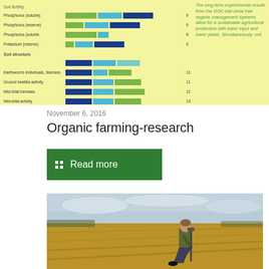[Figure (other): Partial view of a comparison chart (DOK-trial) showing soil fertility parameters like Phosphorus (soluble/reserve), Potassium (reserve), soil structure, earthworms, ground beetles, microbial biomass, and microbial activity plotted as colored bars (green, light blue, dark blue). Yellow background with a side panel of italic green text describing DOK-trial results.]
November 6, 2016
Organic farming-research
Read more
[Figure (photo): Photograph of a researcher kneeling in a harvested grain field, using a soil probe or measuring instrument, with an overcast sky in the background.]